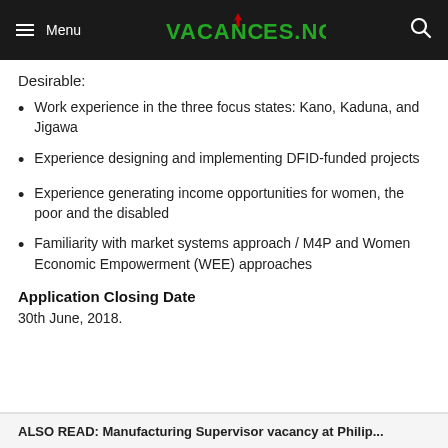Menu | VACANCIES.NG
Desirable:
Work experience in the three focus states: Kano, Kaduna, and Jigawa
Experience designing and implementing DFID-funded projects
Experience generating income opportunities for women, the poor and the disabled
Familiarity with market systems approach / M4P and Women Economic Empowerment (WEE) approaches
Application Closing Date
30th June, 2018.
ALSO READ: Manufacturing Supervisor vacancy at Philip...